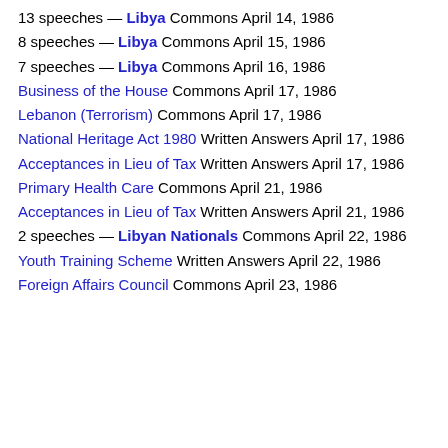13 speeches — Libya Commons April 14, 1986
8 speeches — Libya Commons April 15, 1986
7 speeches — Libya Commons April 16, 1986
Business of the House Commons April 17, 1986
Lebanon (Terrorism) Commons April 17, 1986
National Heritage Act 1980 Written Answers April 17, 1986
Acceptances in Lieu of Tax Written Answers April 17, 1986
Primary Health Care Commons April 21, 1986
Acceptances in Lieu of Tax Written Answers April 21, 1986
2 speeches — Libyan Nationals Commons April 22, 1986
Youth Training Scheme Written Answers April 22, 1986
Foreign Affairs Council Commons April 23, 1986